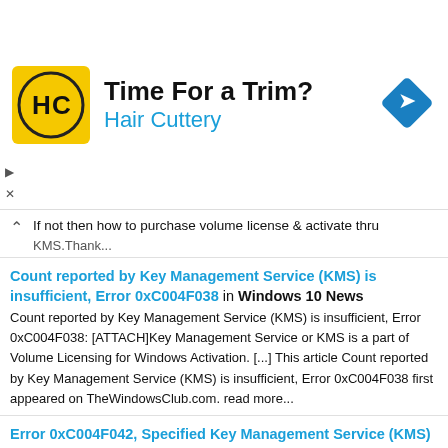[Figure (infographic): Advertisement banner for Hair Cuttery with logo, title 'Time For a Trim?', subtitle 'Hair Cuttery', and a blue diamond navigation icon on the right.]
If not then how to purchase volume license & activate thru KMS.Thank...
Count reported by Key Management Service (KMS) is insufficient, Error 0xC004F038 in Windows 10 News
Count reported by Key Management Service (KMS) is insufficient, Error 0xC004F038: [ATTACH]Key Management Service or KMS is a part of Volume Licensing for Windows Activation. [...] This article Count reported by Key Management Service (KMS) is insufficient, Error 0xC004F038 first appeared on TheWindowsClub.com. read more...
Error 0xC004F042, Specified Key Management Service (KMS) cannot be used in Windows 10 News
Error 0xC004F042, Specified Key Management Service (KMS) cannot be used: [ATTACH]Volume Licensing Activation Error Code 0xC004F042 shows up when the KMS host cannot activate the [...] This article Error 0xC004F042, Specified Key Management Service (KMS) cannot be used first appeared on TheWindowsClub.com. read more...